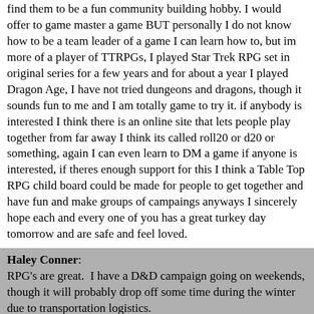find them to be a fun community building hobby. I would offer to game master a game BUT personally I do not know how to be a team leader of a game I can learn how to, but im more of a player of TTRPGs, I played Star Trek RPG set in original series for a few years and for about a year I played Dragon Age, I have not tried dungeons and dragons, though it sounds fun to me and I am totally game to try it. if anybody is interested I think there is an online site that lets people play together from far away I think its called roll20 or d20 or something, again I can even learn to DM a game if anyone is interested, if theres enough support for this I think a Table Top RPG child board could be made for people to get together and have fun and make groups of campaings anyways I sincerely hope each and every one of you has a great turkey day tomorrow and are safe and feel loved.
Haley Conner: RPG's are great. I have a D&D campaign going on weekends, though it will probably drop off some time during the winter due to transportation logistics.
Navigation
[0] Message Index
Go to full version